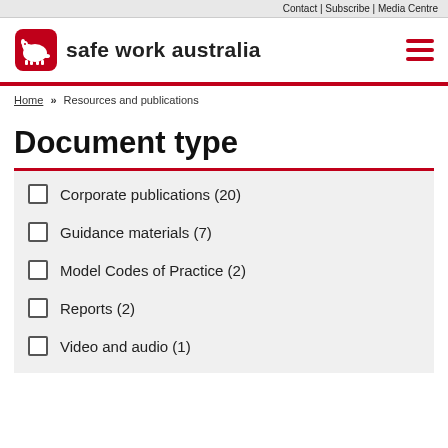Contact | Subscribe | Media Centre
[Figure (logo): Safe Work Australia logo — red wombat icon in rounded square with bold text 'safe work australia']
Home » Resources and publications
Document type
Corporate publications (20)
Guidance materials (7)
Model Codes of Practice (2)
Reports (2)
Video and audio (1)